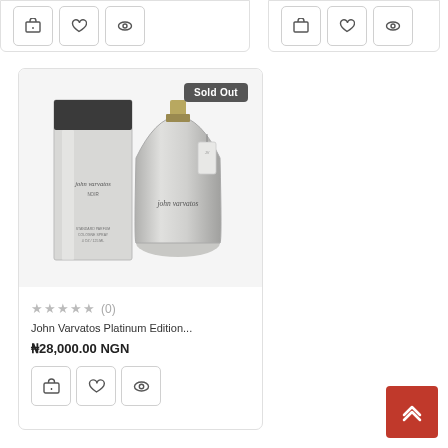[Figure (screenshot): Top partial product cards with action icon buttons (cart, heart, eye)]
[Figure (photo): John Varvatos Platinum Edition perfume bottle and box, silver/chrome finish, with 'Sold Out' badge]
★★★★★ (0)
John Varvatos Platinum Edition...
₦28,000.00 NGN
[Figure (screenshot): Scroll to top red button with double chevron up arrow]